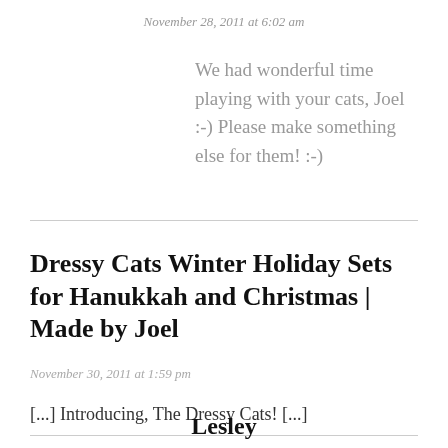November 28, 2011 at 6:02 am
We had wonderful time playing with your cats, Joel :-) Please make something else for them! :-)
Dressy Cats Winter Holiday Sets for Hanukkah and Christmas | Made by Joel
November 30, 2011 at 1:59 pm
[...] Introducing, The Dressy Cats! [...]
Lesley